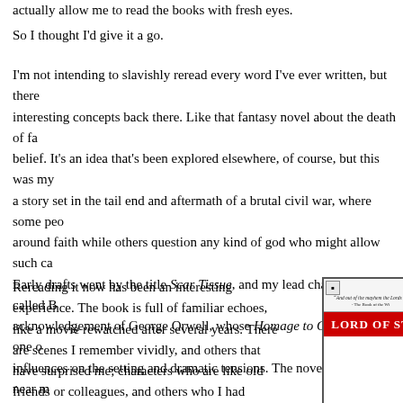actually allow me to read the books with fresh eyes.
So I thought I'd give it a go.
I'm not intending to slavishly reread every word I've ever written, but there are interesting concepts back there. Like that fantasy novel about the death of faith and belief. It's an idea that's been explored elsewhere, of course, but this was my take: a story set in the tail end and aftermath of a brutal civil war, where some people rally around faith while others question any kind of god who might allow such carnage. Early drafts went by the title Scar Tissue, and my lead character was called B—, an acknowledgement of George Orwell, whose Homage to Catalonia was one of the influences on the setting and dramatic tensions. The novel was a very near miss, with interest from a major publisher taking it right up to the point where it was listed in a Forthcoming Titles catalogue, but internal changes at the company before signing hit the contract led to it falling through the gaps. After that, it was a difficult book to place – for a variety of reasons, one of which was that it didn't fit any neat publishing categories, being neither mainstream nor out and out fantasy. It ended up coming out under the title Lord of Stone from Cosmos Books in the US in the late 1990s, and I republished it through infinity plus a few years ago.
Rereading it now has been an interesting experience. The book is full of familiar echoes, like a movie rewatched after several years. There are scenes I remember vividly, and others that have surprised me; characters who are like old friends or colleagues, and others who I had
[Figure (illustration): Book cover of 'Lord of Stone' showing a red title bar with white text and a quote at the top in italic on a light background.]